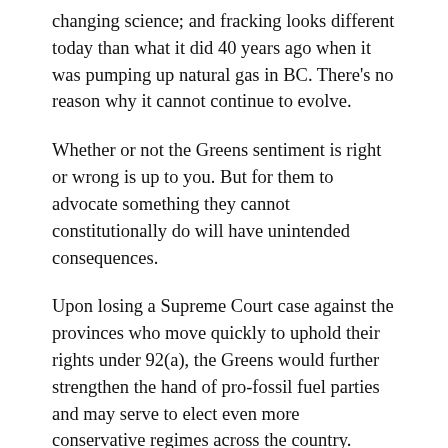changing science; and fracking looks different today than what it did 40 years ago when it was pumping up natural gas in BC. There's no reason why it cannot continue to evolve.
Whether or not the Greens sentiment is right or wrong is up to you. But for them to advocate something they cannot constitutionally do will have unintended consequences.
Upon losing a Supreme Court case against the provinces who move quickly to uphold their rights under 92(a), the Greens would further strengthen the hand of pro-fossil fuel parties and may serve to elect even more conservative regimes across the country.
How does that look? See Alberta where they elected the UCP government out of a frustration to get their